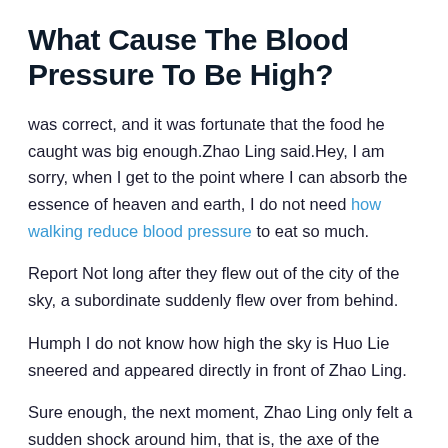What Cause The Blood Pressure To Be High?
was correct, and it was fortunate that the food he caught was big enough.Zhao Ling said.Hey, I am sorry, when I get to the point where I can absorb the essence of heaven and earth, I do not need how walking reduce blood pressure to eat so much.
Report Not long after they flew out of the city of the sky, a subordinate suddenly flew over from behind.
Humph I do not know how high the sky is Huo Lie sneered and appeared directly in front of Zhao Ling.
Sure enough, the next moment, Zhao Ling only felt a sudden shock around him, that is, the axe of the elder blood pressure 112 over 67 High Blood Pressure Flu Medicine at the peak of